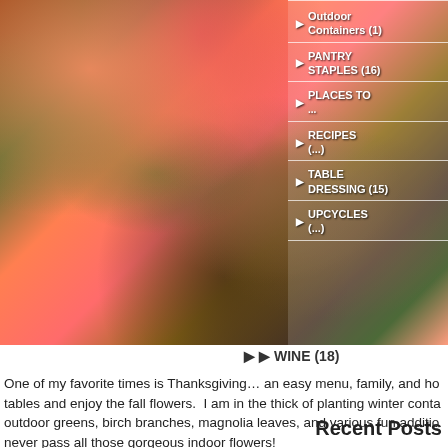[Figure (photo): Floral arrangement with orange and pink roses, green trailing foliage, and a bowl of shells and gourds on a layered textile surface. Right side shows a partially visible blog sidebar navigation with category links including Outdoor Containers (1), Pantry Staples (16), Places To..., Recipes (...), Table Dressing (15), Upcycles (...)]
▶ WINE (18)
One of my favorite times is Thanksgiving… an easy menu, family, and ho tables and enjoy the fall flowers.  I am in the thick of planting winter conta outdoor greens, birch branches, magnolia leaves, and various fun additio never pass all those gorgeous indoor flowers!
Recent Posts